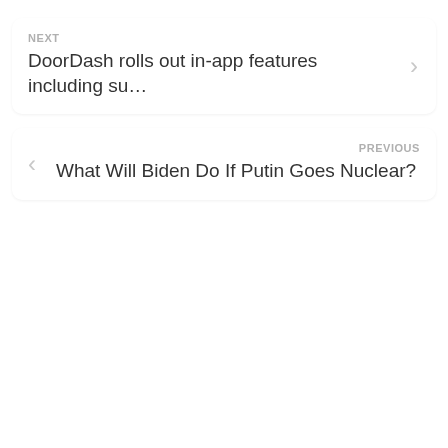NEXT
DoorDash rolls out in-app features including su…
PREVIOUS
What Will Biden Do If Putin Goes Nuclear?